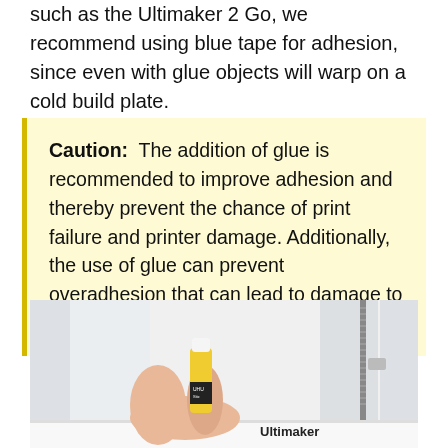such as the Ultimaker 2 Go, we recommend using blue tape for adhesion, since even with glue objects will warp on a cold build plate.
Caution: The addition of glue is recommended to improve adhesion and thereby prevent the chance of print failure and printer damage. Additionally, the use of glue can prevent overadhesion that can lead to damage to the build plate.
[Figure (photo): A hand holding a glue stick near the build plate of an Ultimaker 3D printer. The printer's glass enclosure and screw rod are visible, along with the Ultimaker branding on the front panel.]